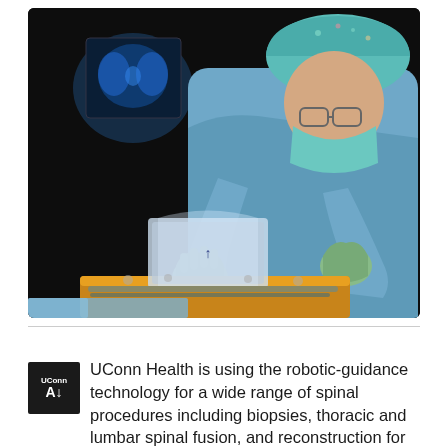[Figure (photo): A surgeon or medical professional in blue surgical gown, teal hair cap, surgical mask, and green gloves working with medical equipment on an operating table. X-ray images visible on a monitor in the dark background.]
UConn Health is using the robotic-guidance technology for a wide range of spinal procedures including biopsies, thoracic and lumbar spinal fusion, and reconstruction for